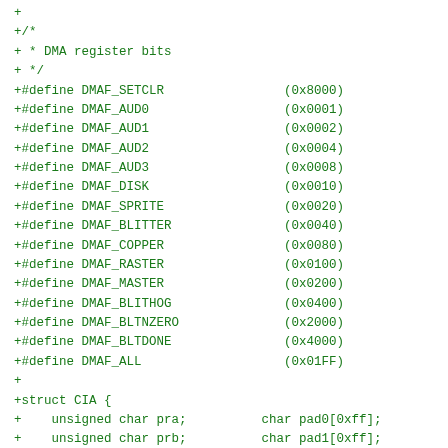+
+/*
+ * DMA register bits
+ */
+#define DMAF_SETCLR          (0x8000)
+#define DMAF_AUD0            (0x0001)
+#define DMAF_AUD1            (0x0002)
+#define DMAF_AUD2            (0x0004)
+#define DMAF_AUD3            (0x0008)
+#define DMAF_DISK            (0x0010)
+#define DMAF_SPRITE          (0x0020)
+#define DMAF_BLITTER         (0x0040)
+#define DMAF_COPPER          (0x0080)
+#define DMAF_RASTER          (0x0100)
+#define DMAF_MASTER          (0x0200)
+#define DMAF_BLITHOG         (0x0400)
+#define DMAF_BLTNZERO        (0x2000)
+#define DMAF_BLTDONE         (0x4000)
+#define DMAF_ALL             (0x01FF)
+
+struct CIA {
+    unsigned char pra;          char pad0[0xff];
+    unsigned char prb;          char pad1[0xff];
+    unsigned char ddra;              char pad2[0xff];
+    unsigned char ddrb;              char pad3[0xff];